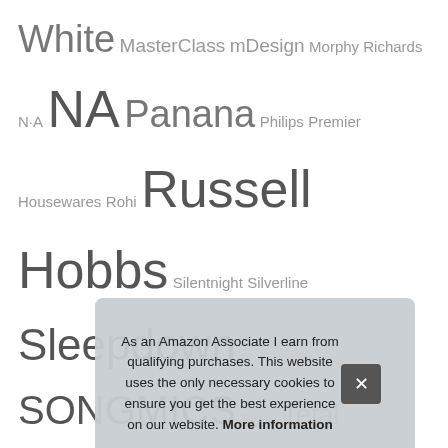White MasterClass mDesign Morphy Richards N-A NA Panana Philips Premier Housewares Rohi Russell Hobbs Silentnight Silverline Sleepdown SONGMICS Swan Tefal Tower UMI Unique Party Utopia Bedding VASAGLE viceroy bedding Vida Designs VonHaus woodluv Yaheetech
Recent Posts
Top 10 Charcoal Grey Rugs UK – Area Rugs
Top 10 Charcoal Curtains 90 90 UK – Curtains & Drapes
T...
T...
Top 10 Lights for Bedrooms UK – LED Strips
As an Amazon Associate I earn from qualifying purchases. This website uses the only necessary cookies to ensure you get the best experience on our website. More information